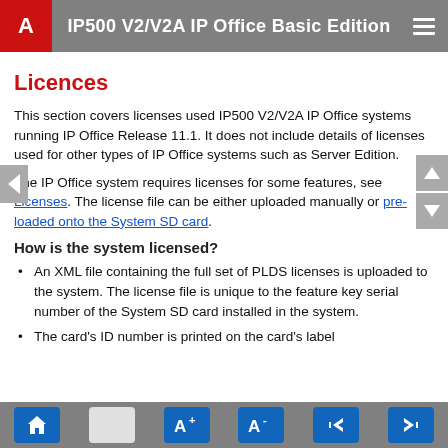IP500 V2/V2A IP Office Basic Edition
Licences
This section covers licenses used IP500 V2/V2A IP Office systems running IP Office Release 11.1. It does not include details of licenses used for other types of IP Office systems such as Server Edition.
The IP Office system requires licenses for some features, see Licenses. The license file can be either uploaded manually or pre-loaded onto the System SD card.
How is the system licensed?
An XML file containing the full set of PLDS licenses is uploaded to the system. The license file is unique to the feature key serial number of the System SD card installed in the system.
The card's ID number is printed on the card's label